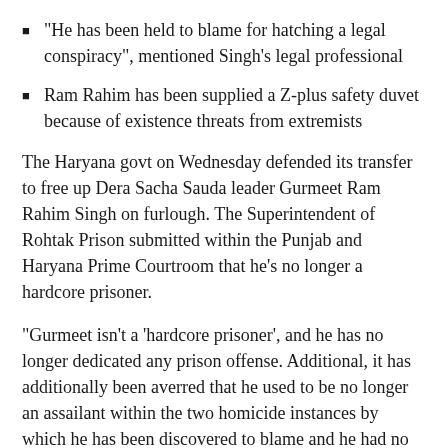“He has been held to blame for hatching a legal conspiracy”, mentioned Singh’s legal professional
Ram Rahim has been supplied a Z-plus safety duvet because of existence threats from extremists
The Haryana govt on Wednesday defended its transfer to free up Dera Sacha Sauda leader Gurmeet Ram Rahim Singh on furlough. The Superintendent of Rohtak Prison submitted within the Punjab and Haryana Prime Courtroom that he’s no longer a hardcore prisoner.
“Gurmeet isn’t a ‘hardcore prisoner’, and he has no longer dedicated any prison offense. Additional, it has additionally been averred that he used to be no longer an assailant within the two homicide instances by which he has been discovered to blame and he had no longer done the true killings as he has been held to blame for hatching a legal conspiracy along with his co-accused